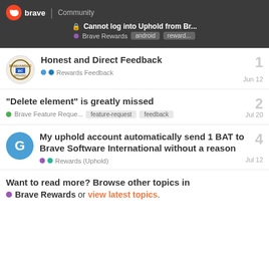Cannot log into Uphold from Br... | Brave Rewards | android | reward...
Honest and Direct Feedback | Rewards Feedback | Jun 12 | replies: 1
"Delete element" is greatly missed | Brave Feature Reque... | feature-request | feedback | Jul 20 | replies: 2
My uphold account automatically send 1 BAT to Brave Software International without a reason | Rewards (Uphold) | Jul 12 | replies: 4
Want to read more? Browse other topics in Brave Rewards or view latest topics.